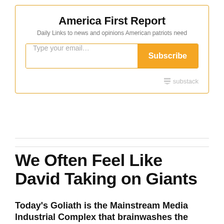America First Report
Daily Links to news and opinions American patriots need
[Figure (screenshot): Email subscription form with text input placeholder 'Type your email...' and orange 'Subscribe' button, with Substack logo at bottom right]
We Often Feel Like David Taking on Giants
Today's Goliath is the Mainstream Media Industrial Complex that brainwashes the masses